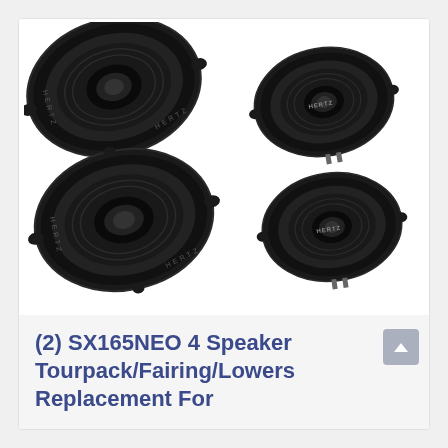[Figure (photo): Four Hertz SX165NEO car speakers (black, oval shape with center tweeter) arranged in two rows of two, on a white background.]
(2) SX165NEO 4 Speaker Tourpack/Fairing/Lowers Replacement For